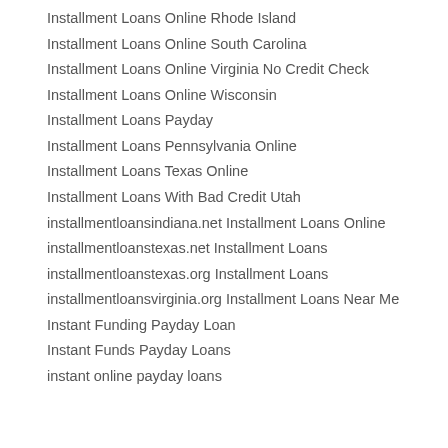Installment Loans Online Rhode Island
Installment Loans Online South Carolina
Installment Loans Online Virginia No Credit Check
Installment Loans Online Wisconsin
Installment Loans Payday
Installment Loans Pennsylvania Online
Installment Loans Texas Online
Installment Loans With Bad Credit Utah
installmentloansindiana.net Installment Loans Online
installmentloanstexas.net Installment Loans
installmentloanstexas.org Installment Loans
installmentloansvirginia.org Installment Loans Near Me
Instant Funding Payday Loan
Instant Funds Payday Loans
instant online payday loans